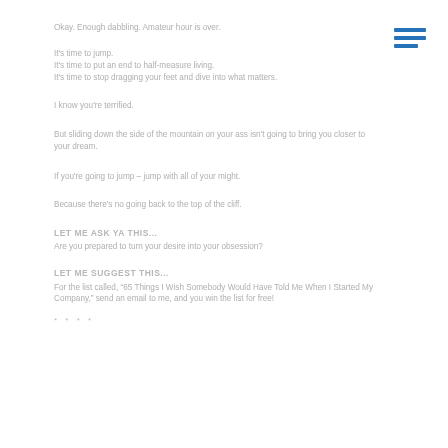Okay. Enough dabbling. Amateur hour is over.
It's time to jump.
It's time to put an end to half-measure living.
It's time to stop dragging your feet and dive into what matters.
I know you're terrified.
But sliding down the side of the mountain on your ass isn't going to bring you closer to your dream.
If you're going to jump – jump with all of your might.
Because there's no going back to the top of the cliff.
LET ME ASK YA THIS...
Are you prepared to turn your desire into your obsession?
LET ME SUGGEST THIS...
For the list called, "65 Things I Wish Somebody Would Have Told Me When I Started My Company," send an email to me, and you win the list for free!
* * * *